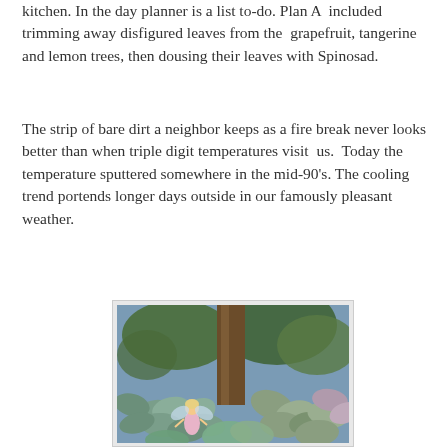kitchen. In the day planner is a list to-do. Plan A  included trimming away disfigured leaves from the  grapefruit, tangerine and lemon trees, then dousing their leaves with Spinosad.
The strip of bare dirt a neighbor keeps as a fire break never looks better than when triple digit temperatures visit  us.  Today the temperature sputtered somewhere in the mid-90's. The cooling trend portends longer days outside in our famously pleasant weather.
[Figure (photo): A garden photo showing succulents and a fairy figurine among green plants with a tree trunk, against a blue-grey background.]